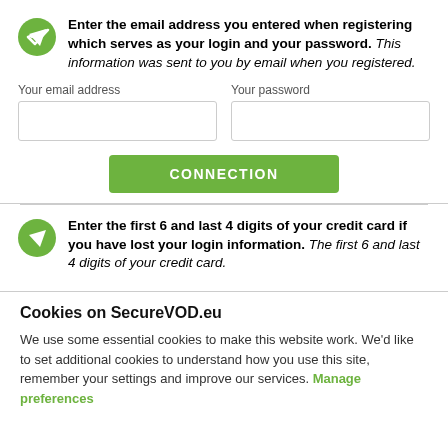Enter the email address you entered when registering which serves as your login and your password. This information was sent to you by email when you registered.
Your email address
Your password
CONNECTION
Enter the first 6 and last 4 digits of your credit card if you have lost your login information. The first 6 and last 4 digits of your credit card.
Cookies on SecureVOD.eu
We use some essential cookies to make this website work. We'd like to set additional cookies to understand how you use this site, remember your settings and improve our services. Manage preferences